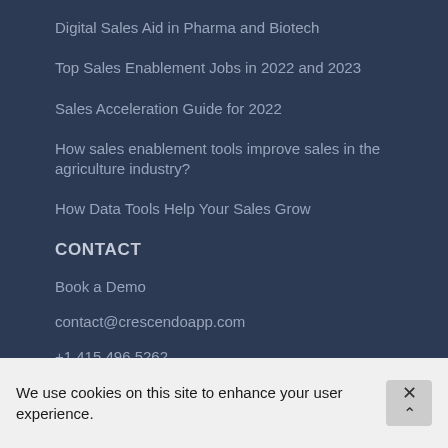Digital Sales Aid in Pharma and Biotech
Top Sales Enablement Jobs in 2022 and 2023
Sales Acceleration Guide for 2022
How sales enablement tools improve sales in the agriculture industry?
How Data Tools Help Your Sales Grow
CONTACT
Book a Demo
contact@crescendoapp.com
+1 415 496 5262
We use cookies on this site to enhance your user experience.